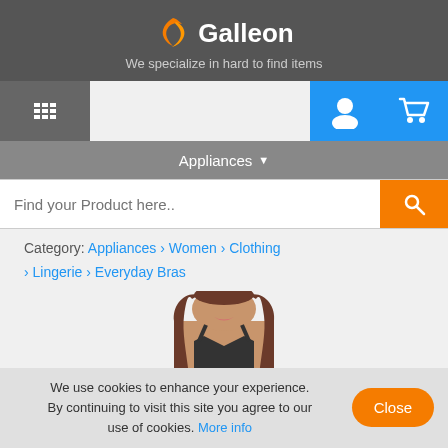[Figure (logo): Galleon logo with orange flame icon and white text 'Galleon' on dark gray background]
We specialize in hard to find items
[Figure (infographic): Navigation bar with grid/menu icon on dark gray, user and cart icons on blue background]
Appliances ▾
Find your Product here..
Category: Appliances › Women › Clothing › Lingerie › Everyday Bras
[Figure (photo): Woman with brown hair wearing a dark bra, cropped to show face and upper torso]
We use cookies to enhance your experience. By continuing to visit this site you agree to our use of cookies. More info